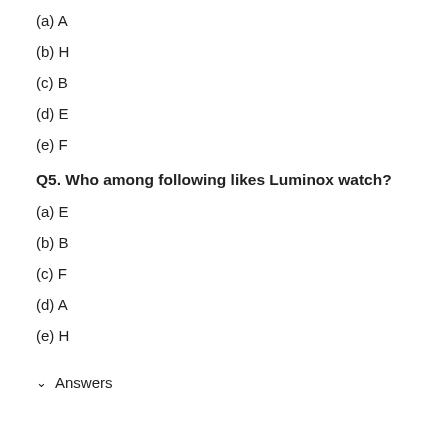(a) A
(b) H
(c) B
(d) E
(e) F
Q5. Who among following likes Luminox watch?
(a) E
(b) B
(c) F
(d) A
(e) H
✔ Answers